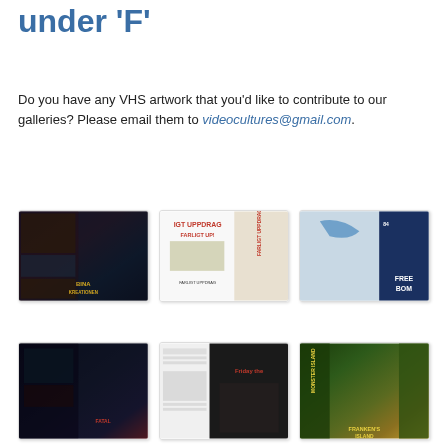under 'F'
Do you have any VHS artwork that you'd like to contribute to our galleries? Please email them to videocultures@gmail.com.
[Figure (photo): VHS cover art thumbnail - dark action movie cover]
[Figure (photo): VHS cover art thumbnail - Farligt Uppdrag cover with red text]
[Figure (photo): VHS cover art thumbnail - Freeze Bomb cover with blue/grey design]
[Figure (photo): VHS cover art thumbnail - dark sci-fi/action movie cover]
[Figure (photo): VHS cover art thumbnail - Friday the 13th cover]
[Figure (photo): VHS cover art thumbnail - Frankenstein Island cover with green/yellow tones]